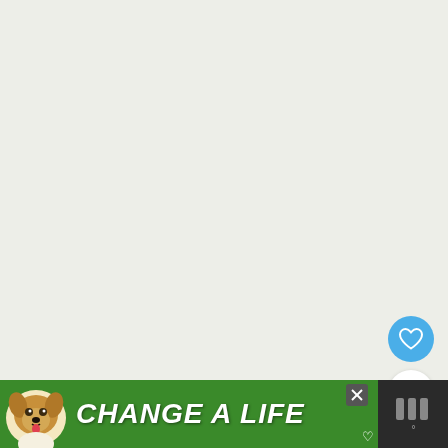[Figure (screenshot): Main content area with light beige/green background, large empty map or blank space]
[Figure (infographic): Blue circular favorite/heart button floating on right side]
[Figure (infographic): White circular badge showing count '1' below the heart button]
[Figure (infographic): White circular share button with share icon below the count badge]
[Figure (infographic): Advertisement banner at bottom: dark background with green section showing a dog photo and 'CHANGE A LIFE' text in bold white italic, with X close button and heart icon, and brand logo on right]